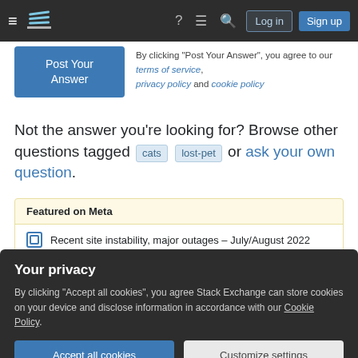Stack Exchange navigation bar with Log in and Sign up buttons
By clicking "Post Your Answer", you agree to our terms of service, privacy policy and cookie policy
Not the answer you're looking for? Browse other questions tagged cats lost-pet or ask your own question.
Featured on Meta
Recent site instability, major outages – July/August 2022
Please welcome Valued Associate #1301 – Emerson
Your privacy
By clicking "Accept all cookies", you agree Stack Exchange can store cookies on your device and disclose information in accordance with our Cookie Policy.
Accept all cookies   Customize settings
Help in luring our missing since two weeks cat, which we've...